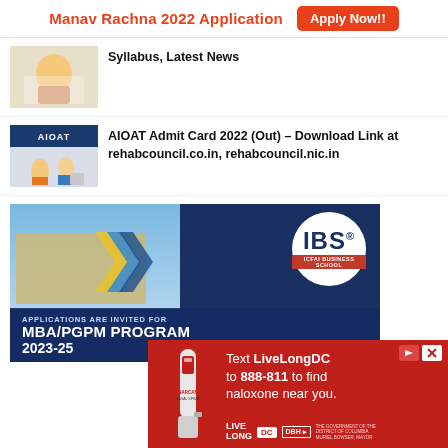[Figure (other): Manav Rachna 2022 Application banner ad with Apply Now button]
[Figure (other): Thumbnail image for news article about syllabus and latest news]
Syllabus, Latest News
[Figure (other): AIOAT thumbnail image with logo and people]
AIOAT Admit Card 2022 (Out) – Download Link at rehabcouncil.co.in, rehabcouncil.nic.in
[Figure (other): IBS ICFAI Business School advertisement for MBA/PGPM Program 2023-25]
[Figure (other): LiveLongDC advertisement: Text LiveLongDC to 888-811 to find naloxone near you.]